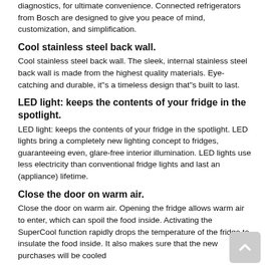diagnostics, for ultimate convenience. Connected refrigerators from Bosch are designed to give you peace of mind, customization, and simplification.
Cool stainless steel back wall.
Cool stainless steel back wall. The sleek, internal stainless steel back wall is made from the highest quality materials. Eye-catching and durable, it"s a timeless design that"s built to last.
LED light: keeps the contents of your fridge in the spotlight.
LED light: keeps the contents of your fridge in the spotlight. LED lights bring a completely new lighting concept to fridges, guaranteeing even, glare-free interior illumination. LED lights use less electricity than conventional fridge lights and last an (appliance) lifetime.
Close the door on warm air.
Close the door on warm air. Opening the fridge allows warm air to enter, which can spoil the food inside. Activating the SuperCool function rapidly drops the temperature of the fridge to insulate the food inside. It also makes sure that the new purchases will be cooled